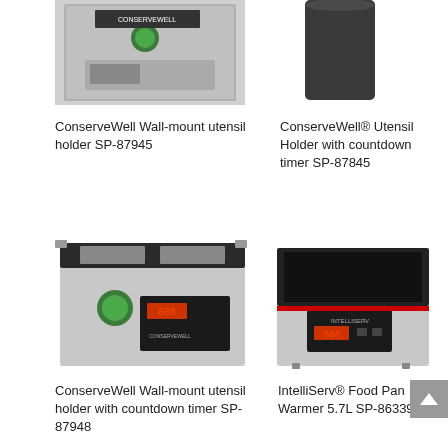[Figure (photo): ConserveWell Wall-mount utensil holder SP-87945 - product photo showing wall-mounted device with green indicator light and CONSERVEWELL branding]
[Figure (photo): ConserveWell Utensil Holder with countdown timer SP-87845 - product photo showing dark cylindrical container]
ConserveWell Wall-mount utensil holder SP-87945
ConserveWell® Utensil Holder with countdown timer SP-87845
[Figure (photo): ConserveWell Wall-mount utensil holder with countdown timer SP-87948 - product photo showing stainless steel wall-mount unit with digital display and dual compartments]
[Figure (photo): IntelliServ® Food Pan Warmer 5.7L SP-86339 - product photo showing stainless steel food pan warmer with digital display]
ConserveWell Wall-mount utensil holder with countdown timer SP-87948
IntelliServ® Food Pan Warmer 5.7L SP-86339